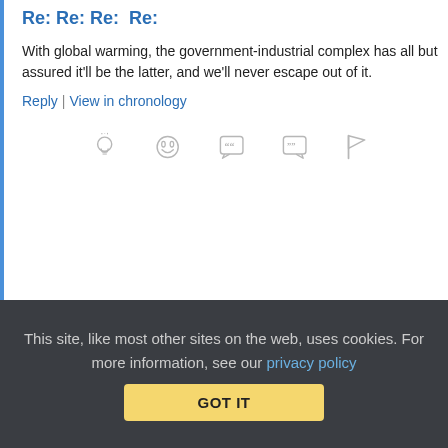Re: Re: Re:  Re:
With global warming, the government-industrial complex has all but assured it’ll be the latter, and we’ll never escape out of it.
Reply | View in chronology
[Figure (other): Row of 5 reaction/action icons: lightbulb (insightful), laughing face (funny), quote bubble, reply bubble with 99, flag]
[Figure (other): Thread count icon with [3] label indicating 3 replies]
[Figure (other): Anonymous Coward user avatar - blue dotted grid pattern]
Anonymous Coward
December 29, 2015 at 8:31 pm
This site, like most other sites on the web, uses cookies. For more information, see our privacy policy
GOT IT